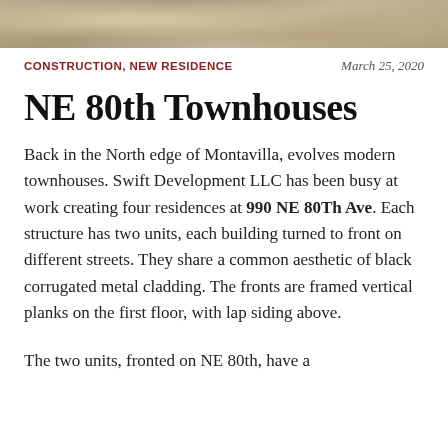[Figure (photo): Exterior photo strip of townhouse construction, showing stone or gravel surface in warm tan/brown tones]
CONSTRUCTION, NEW RESIDENCE    March 25, 2020
NE 80th Townhouses
Back in the North edge of Montavilla, evolves modern townhouses. Swift Development LLC has been busy at work creating four residences at 990 NE 80Th Ave. Each structure has two units, each building turned to front on different streets. They share a common aesthetic of black corrugated metal cladding. The fronts are framed vertical planks on the first floor, with lap siding above.
The two units, fronted on NE 80th, have a